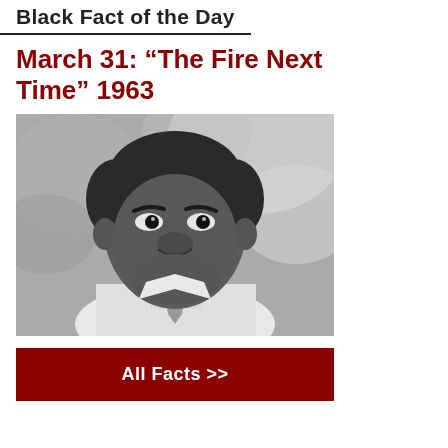Black Fact of the Day
March 31: “The Fire Next Time” 1963
[Figure (photo): Black and white portrait photograph of a man wearing a white shirt and tie, looking slightly upward, with blurred foliage in background.]
All Facts >>